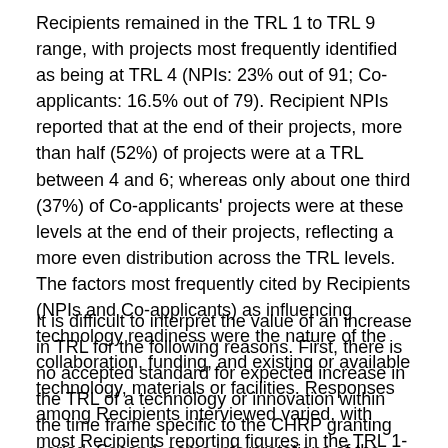Recipients remained in the TRL 1 to TRL 9 range, with projects most frequently identified as being at TRL 4 (NPIs: 23% out of 91; Co-applicants: 16.5% out of 79). Recipient NPIs reported that at the end of their projects, more than half (52%) of projects were at a TRL between 4 and 6; whereas only about one third (37%) of Co-applicants' projects were at these levels at the end of their projects, reflecting a more even distribution across the TRL levels. The factors most frequently cited by Recipients (NPIs and Co-applicants) as influencing technology readiness were the nature of the collaboration, funding, and existing or available technology, materials or facilities. Responses among Recipients interviewed varied, with most Recipients reporting figures in the TRL 1-2 range at the projects' inception. These interviewees also said that the TRLs increased by the end of the project.
It is difficult to interpret the value of an increase in TRL for the following reasons. First, there is no accepted standard for expected increase in the TRL of a technology or innovation within the time frame specific to the CHRP granting period. Second, some interpretations of the TRL scale have conceptualized the scale in such a way that certain levels may be combined to represent phases of technology readiness (e.g., TRL 1-3 is "pre-